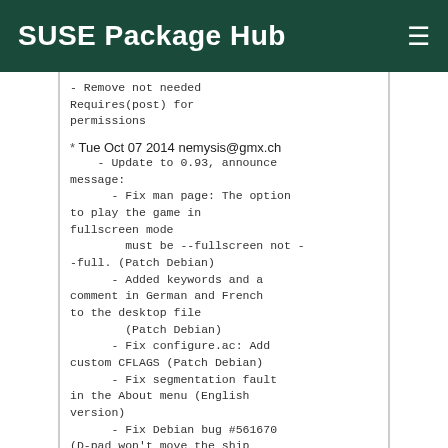SUSE Package Hub
- Remove not needed Requires(post) for permissions
* Tue Oct 07 2014 nemysis@gmx.ch
    - Update to 0.93, announce message:
      - Fix man page: The option to play the game in fullscreen mode
        must be --fullscreen not --full. (Patch Debian)
      - Added keywords and a comment in German and French to the desktop file
        (Patch Debian)
      - Fix configure.ac: Add custom CFLAGS (Patch Debian)
      - Fix segmentation fault in the About menu (English version)
      - Fix Debian bug #561670 (D-pad won't move the ship straight left)
      - Allow compilation with Clang
    - Remove not needed image, Desktop entry file, use supplied
    - Remove powermanga-0.90-install.patch
    - Add %{name}.sh, that game